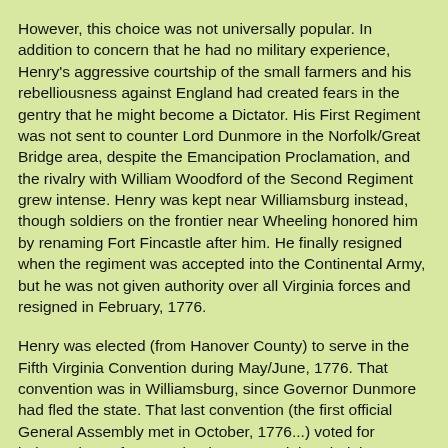However, this choice was not universally popular. In addition to concern that he had no military experience, Henry's aggressive courtship of the small farmers and his rebelliousness against England had created fears in the gentry that he might become a Dictator. His First Regiment was not sent to counter Lord Dunmore in the Norfolk/Great Bridge area, despite the Emancipation Proclamation, and the rivalry with William Woodford of the Second Regiment grew intense. Henry was kept near Williamsburg instead, though soldiers on the frontier near Wheeling honored him by renaming Fort Fincastle after him. He finally resigned when the regiment was accepted into the Continental Army, but he was not given authority over all Virginia forces and resigned in February, 1776.
Henry was elected (from Hanover County) to serve in the Fifth Virginia Convention during May/June, 1776. That convention was in Williamsburg, since Governor Dunmore had fled the state. That last convention (the first official General Assembly met in October, 1776...) voted for independence from England , approved the Virginia Declaration of Rights, and adopted the first Virginia Constitution.
Henry was the first elected governor of Virginia in 1776, serving three one-years terms as defined in the first (1776) constitution of the new Commonwealth of Virginia. He moved from Scotchtown to the Governor's Palace in Williamsburg. The palace had been used as a hospital after Dunmore abandoned it, but was converted back to a residence for Henry.
As the newly-elected governor, Henry supported George Rogers Clark when he requested gunpowder to fight the British and the native Americans on the "Northwest" frontier (north of the Ohio River). He supported Clark again two years later in 1778, when through secret orders the Virginia government authorized an attack on British forts that ultimately